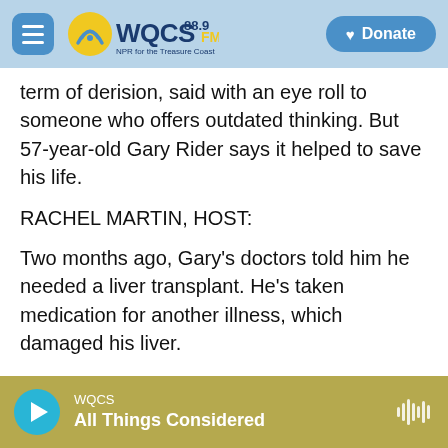WQCS 88.9 FM — Donate
term of derision, said with an eye roll to someone who offers outdated thinking. But 57-year-old Gary Rider says it helped to save his life.
RACHEL MARTIN, HOST:
Two months ago, Gary's doctors told him he needed a liver transplant. He's taken medication for another illness, which damaged his liver.
INSKEEP: But a transplant was going to cost $40,000, and the prospect of raising that much was overwhelming.
WQCS — All Things Considered